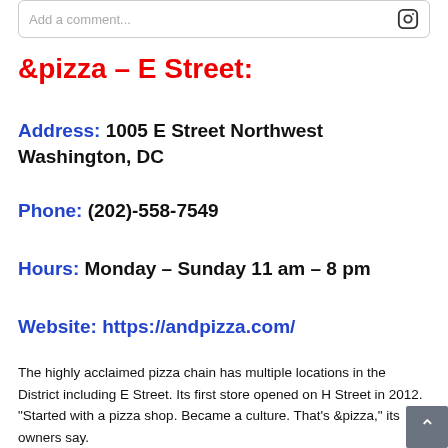Add a comment...
&pizza – E Street:
Address: 1005 E Street Northwest Washington, DC
Phone: (202)-558-7549
Hours: Monday – Sunday 11 am – 8 pm
Website: https://andpizza.com/
The highly acclaimed pizza chain has multiple locations in the District including E Street. Its first store opened on H Street in 2012. "Started with a pizza shop. Became a culture. That's &pizza," its owners say.